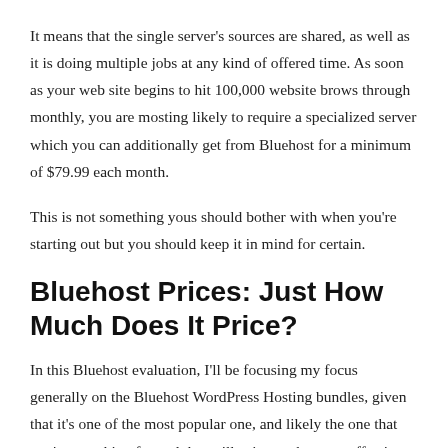It means that the single server's sources are shared, as well as it is doing multiple jobs at any kind of offered time. As soon as your web site begins to hit 100,000 website brows through monthly, you are mosting likely to require a specialized server which you can additionally get from Bluehost for a minimum of $79.99 each month.
This is not something yous should bother with when you're starting out but you should keep it in mind for certain.
Bluehost Prices: Just How Much Does It Price?
In this Bluehost evaluation, I'll be focusing my focus generally on the Bluehost WordPress Hosting bundles, given that it's one of the most popular one, and likely the one that you're searching for and that will suit you the most effective (unless you're a huge brand